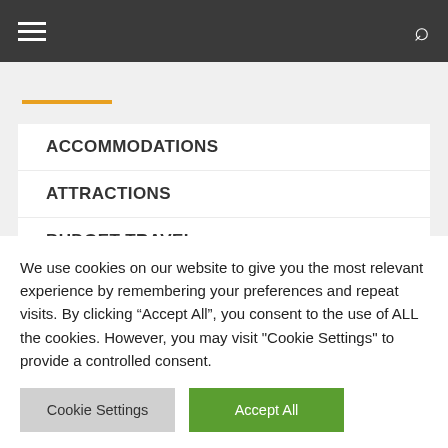Navigation menu header bar with hamburger icon and search icon
ACCOMMODATIONS
ATTRACTIONS
BUDGET TRAVEL
FOOD
INSPIRATION
We use cookies on our website to give you the most relevant experience by remembering your preferences and repeat visits. By clicking "Accept All", you consent to the use of ALL the cookies. However, you may visit "Cookie Settings" to provide a controlled consent.
Cookie Settings | Accept All